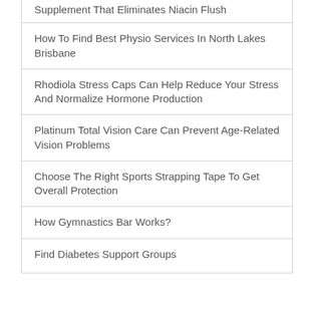Natural Factors Niacinamide Flush-Free Niacin Supplement That Eliminates Niacin Flush
How To Find Best Physio Services In North Lakes Brisbane
Rhodiola Stress Caps Can Help Reduce Your Stress And Normalize Hormone Production
Platinum Total Vision Care Can Prevent Age-Related Vision Problems
Choose The Right Sports Strapping Tape To Get Overall Protection
How Gymnastics Bar Works?
Find Diabetes Support Groups